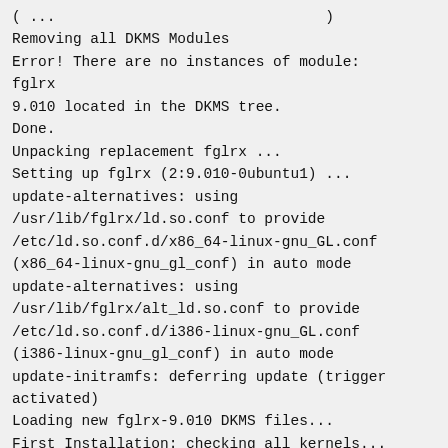( ... ) Removing all DKMS Modules
Error! There are no instances of module:
fglrx
9.010 located in the DKMS tree.
Done.
Unpacking replacement fglrx ...
Setting up fglrx (2:9.010-0ubuntu1) ...
update-alternatives: using
/usr/lib/fglrx/ld.so.conf to provide
/etc/ld.so.conf.d/x86_64-linux-gnu_GL.conf
(x86_64-linux-gnu_gl_conf) in auto mode
update-alternatives: using
/usr/lib/fglrx/alt_ld.so.conf to provide
/etc/ld.so.conf.d/i386-linux-gnu_GL.conf
(i386-linux-gnu_gl_conf) in auto mode
update-initramfs: deferring update (trigger
activated)
Loading new fglrx-9.010 DKMS files...
First Installation: checking all kernels...
Building only for 2.5.0-17 version...